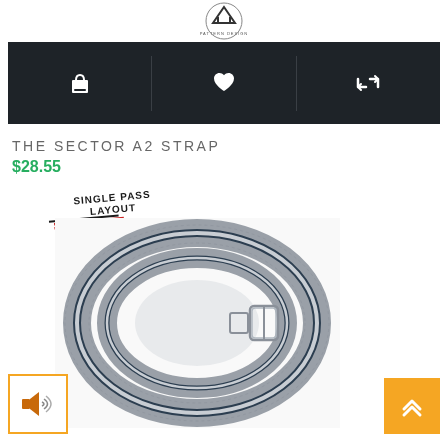[Figure (logo): Brand logo with triangle/house shape and text 'AN ORIG... ESTON PATTERN DESIGN' in circular arrangement]
[Figure (screenshot): Dark navigation bar with three white icons: shopping bag, heart/wishlist, and refresh/retweet icon, separated by vertical dividers]
THE SECTOR A2 STRAP
$28.55
[Figure (illustration): Angled stamp/label reading 'SINGLE PASS LAYOUT' with two horizontal lines (red and black) beneath it]
[Figure (photo): Gray and navy blue NATO/nylon watch strap coiled into a loop, showing woven textile texture with silver metal buckle hardware. Single pass layout design.]
[Figure (other): Orange square back-to-top button with double upward chevron arrows]
[Figure (other): Orange-bordered square button with speaker/sound icon]